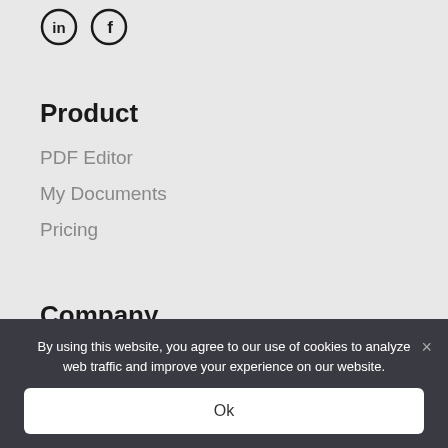[Figure (logo): LinkedIn and Facebook social media icons (circular outlined icons)]
Product
PDF Editor
My Documents
Pricing
Company
Support (partially visible, cut off by cookie banner)
By using this website, you agree to our use of cookies to analyze web traffic and improve your experience on our website.
Ok